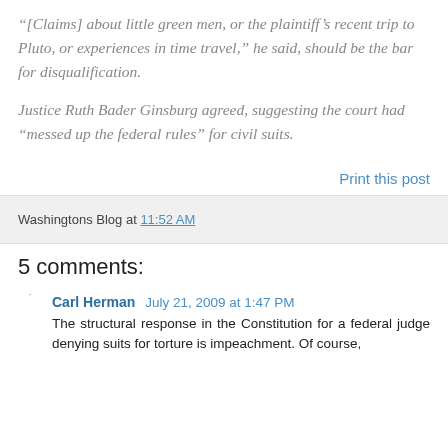“[Claims] about little green men, or the plaintiff’s recent trip to Pluto, or experiences in time travel,” he said, should be the bar for disqualification.
Justice Ruth Bader Ginsburg agreed, suggesting the court had “messed up the federal rules” for civil suits.
Print this post
Washingtons Blog at 11:52 AM
5 comments:
Carl Herman July 21, 2009 at 1:47 PM
The structural response in the Constitution for a federal judge denying suits for torture is impeachment. Of course,